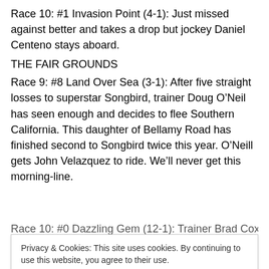Race 10: #1 Invasion Point (4-1): Just missed against better and takes a drop but jockey Daniel Centeno stays aboard.
THE FAIR GROUNDS
Race 9: #8 Land Over Sea (3-1): After five straight losses to superstar Songbird, trainer Doug O’Neil has seen enough and decides to flee Southern California. This daughter of Bellamy Road has finished second to Songbird twice this year. O’Neill gets John Velazquez to ride. We’ll never get this morning-line.
Race 10: #0 Dazzling Gem (12-1): Trainer Brad Cox has...
Privacy & Cookies: This site uses cookies. By continuing to use this website, you agree to their use.
To find out more, including how to control cookies, see here: Cookie Policy
@Jeff_Nahill on Twitter